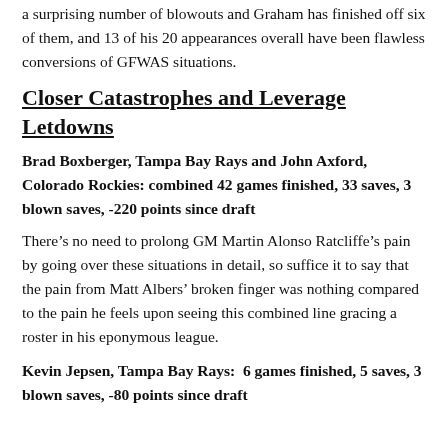a surprising number of blowouts and Graham has finished off six of them, and 13 of his 20 appearances overall have been flawless conversions of GFWAS situations.
Closer Catastrophes and Leverage Letdowns
Brad Boxberger, Tampa Bay Rays and John Axford, Colorado Rockies: combined 42 games finished, 33 saves, 3 blown saves, -220 points since draft
There’s no need to prolong GM Martin Alonso Ratcliffe’s pain by going over these situations in detail, so suffice it to say that the pain from Matt Albers’ broken finger was nothing compared to the pain he feels upon seeing this combined line gracing a roster in his eponymous league.
Kevin Jepsen, Tampa Bay Rays:  6 games finished, 5 saves, 3 blown saves, -80 points since draft